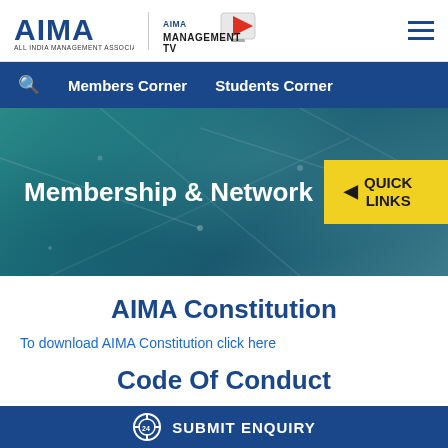[Figure (logo): AIMA (All India Management Association) logo and AIMA Management TV logo in the header]
Members Corner  Students Corner
[Figure (infographic): Hero banner with teal/blue gradient background and network pattern, showing 'Membership & Network' text and a yellow 'QUICK LINKS' button]
AIMA Constitution
To download AIMA Constitution click here
Code Of Conduct
SUBMIT ENQUIRY